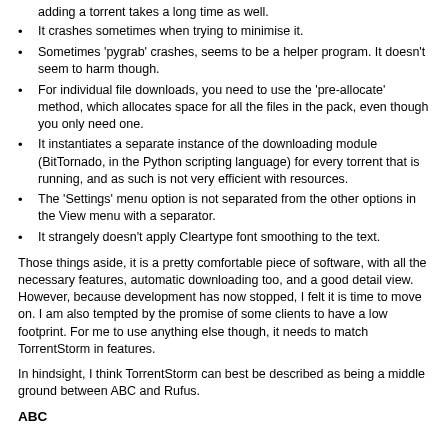adding a torrent takes a long time as well.
It crashes sometimes when trying to minimise it.
Sometimes 'pygrab' crashes, seems to be a helper program. It doesn't seem to harm though.
For individual file downloads, you need to use the 'pre-allocate' method, which allocates space for all the files in the pack, even though you only need one.
It instantiates a separate instance of the downloading module (BitTornado, in the Python scripting language) for every torrent that is running, and as such is not very efficient with resources.
The 'Settings' menu option is not separated from the other options in the View menu with a separator.
It strangely doesn't apply Cleartype font smoothing to the text.
Those things aside, it is a pretty comfortable piece of software, with all the necessary features, automatic downloading too, and a good detail view. However, because development has now stopped, I felt it is time to move on. I am also tempted by the promise of some clients to have a low footprint. For me to use anything else though, it needs to match TorrentStorm in features.
In hindsight, I think TorrentStorm can best be described as being a middle ground between ABC and Rufus.
ABC